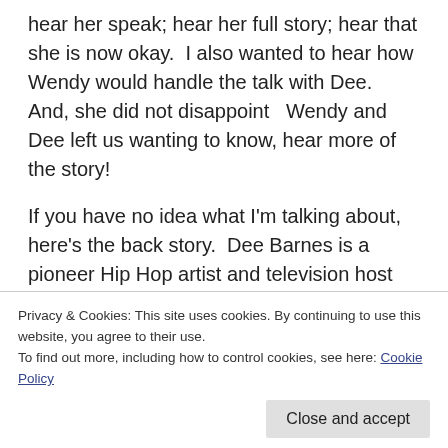hear her speak; hear her full story; hear that she is now okay.  I also wanted to hear how Wendy would handle the talk with Dee.  And, she did not disappoint   Wendy and Dee left us wanting to know, hear more of the story!
If you have no idea what I'm talking about, here's the back story.  Dee Barnes is a pioneer Hip Hop artist and television host who was brutally beaten in the early 1990s by Hip Hop Icon, Dr. Dre because he was offended about
Privacy & Cookies: This site uses cookies. By continuing to use this website, you agree to their use.
To find out more, including how to control cookies, see here: Cookie Policy
past;  Now back to Dee, apparently, the